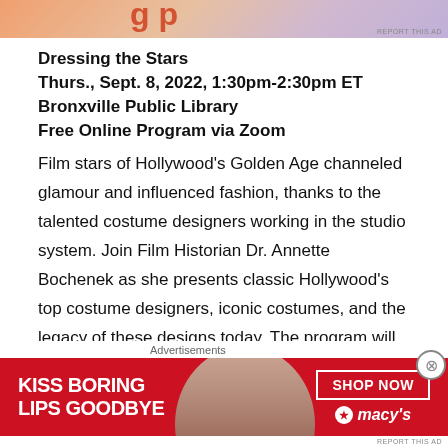[Figure (photo): Top advertisement banner with orange-pink gradient and partial text visible]
Dressing the Stars
Thurs., Sept. 8, 2022, 1:30pm-2:30pm ET
Bronxville Public Library
Free Online Program via Zoom
Film stars of Hollywood’s Golden Age channeled glamour and influenced fashion, thanks to the talented costume designers working in the studio system. Join Film Historian Dr. Annette Bochenek as she presents classic Hollywood’s top costume designers, iconic costumes, and the legacy of these designs today. The program will include a multimedia presentation consisting of photos, video clips, and captivating stories. The registration link will be made
[Figure (photo): Macy's advertisement banner: red background with white text 'KISS BORING LIPS GOODBYE', woman's face with red lips, 'SHOP NOW' button, Macy's logo with star]